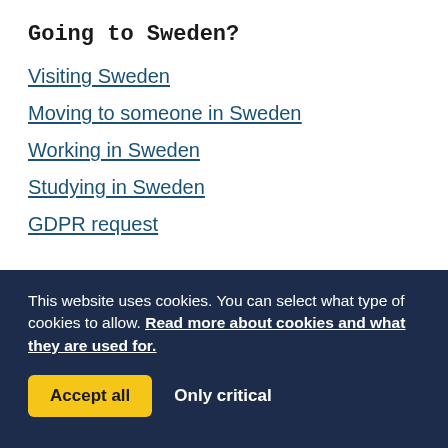Going to Sweden?
Visiting Sweden
Moving to someone in Sweden
Working in Sweden
Studying in Sweden
GDPR request
This website uses cookies. You can select what type of cookies to allow. Read more about cookies and what they are used for.
Accept all   Only critical